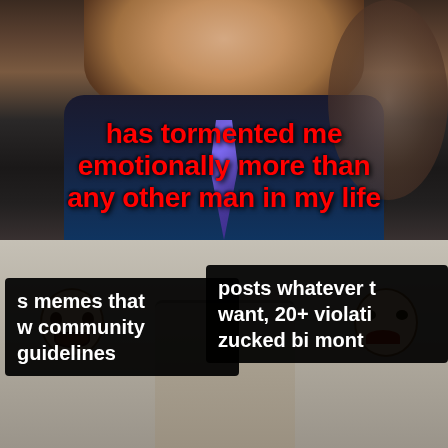[Figure (photo): Photo of a man in a dark suit and blue tie, appearing to be at a formal hearing or testimony. Background shows blurred figures.]
has tormented me emotionally more than any other man in my life
[Figure (illustration): Cartoon illustration of two people seated, resembling a meme format with two contrasting figures - one looking distressed on the left, one smiling on the right.]
s memes that w community guidelines
posts whatever t want, 20+ violati zucked bi mont